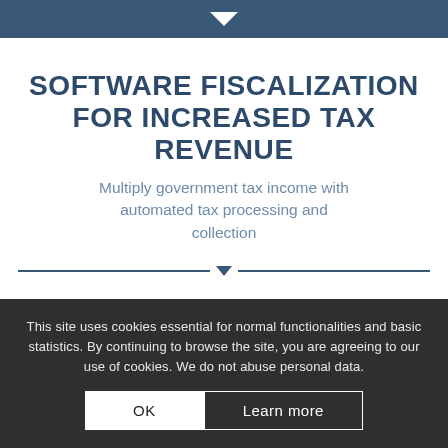SOFTWARE FISCALIZATION FOR INCREASED TAX REVENUE
Multiply government tax income with automated tax processing and collection
This site uses cookies essential for normal functionalities and basic statistics. By continuing to browse the site, you are agreeing to our use of cookies. We do not abuse personal data.
OK | Learn more